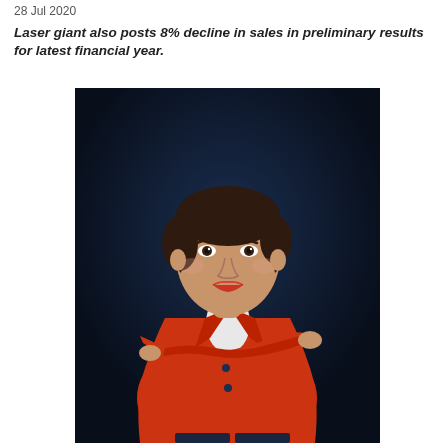28 Jul 2020
Laser giant also posts 8% decline in sales in preliminary results for latest financial year.
[Figure (photo): Professional headshot of a woman with short brown hair wearing a red blazer over a white top, arms crossed, standing against a dark navy blue background.]